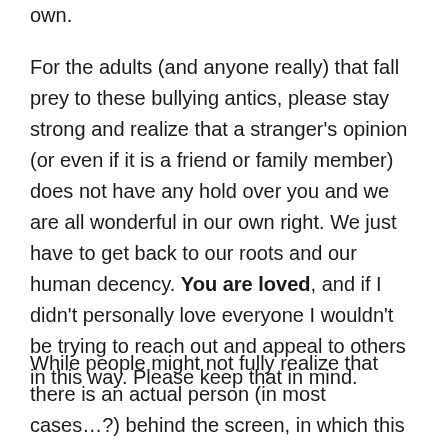own.
For the adults (and anyone really) that fall prey to these bullying antics, please stay strong and realize that a stranger's opinion (or even if it is a friend or family member) does not have any hold over you and we are all wonderful in our own right. We just have to get back to our roots and our human decency. You are loved, and if I didn't personally love everyone I wouldn't be trying to reach out and appeal to others in this way. Please keep that in mind.
While people might not fully realize that there is an actual person (in most cases…?) behind the screen, in which this allows them to throw their compassion and human decency away, others